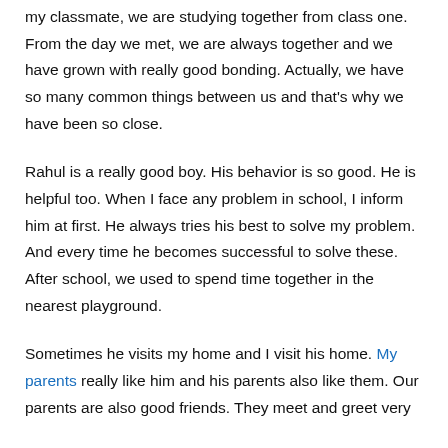my classmate, we are studying together from class one. From the day we met, we are always together and we have grown with really good bonding. Actually, we have so many common things between us and that's why we have been so close.
Rahul is a really good boy. His behavior is so good. He is helpful too. When I face any problem in school, I inform him at first. He always tries his best to solve my problem. And every time he becomes successful to solve these. After school, we used to spend time together in the nearest playground.
Sometimes he visits my home and I visit his home. My parents really like him and his parents also like them. Our parents are also good friends. They meet and greet very